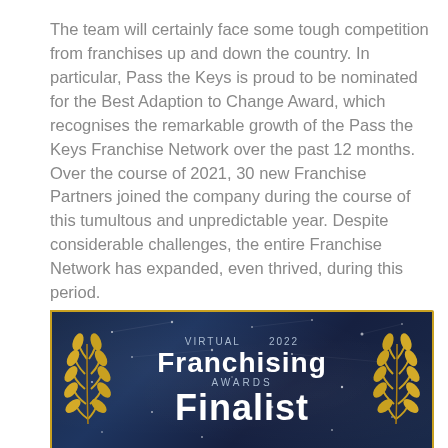The team will certainly face some tough competition from franchises up and down the country. In particular, Pass the Keys is proud to be nominated for the Best Adaption to Change Award, which recognises the remarkable growth of the Pass the Keys Franchise Network over the past 12 months. Over the course of 2021, 30 new Franchise Partners joined the company during the course of this tumultous and unpredictable year. Despite considerable challenges, the entire Franchise Network has expanded, even thrived, during this period.
[Figure (illustration): Virtual 2022 Franchising Awards Finalist badge with gold laurel wreaths on a dark navy blue background with sparkles/stars. Text reads: VIRTUAL 2022 / Franchising / AWARDS / Finalist]